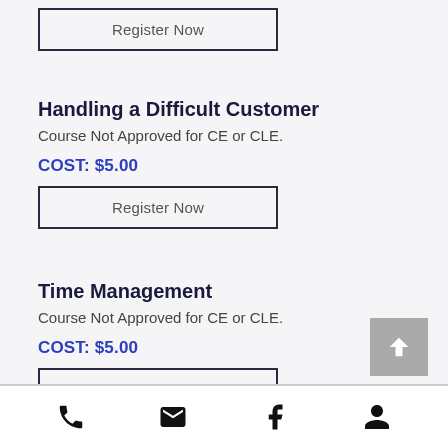[Figure (other): Register Now button (top, partial)]
Handling a Difficult Customer
Course Not Approved for CE or CLE.
COST: $5.00
[Figure (other): Register Now button]
Time Management
Course Not Approved for CE or CLE.
COST: $5.00
[Figure (other): Register Now button]
Phone | Email | Facebook | Account icons